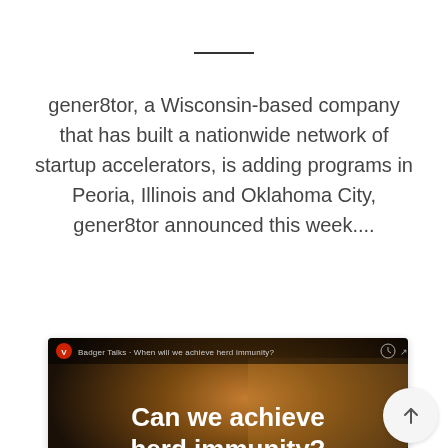gener8tor, a Wisconsin-based company that has built a nationwide network of startup accelerators, is adding programs in Peoria, Illinois and Oklahoma City, gener8tor announced this week....
[Figure (screenshot): Video thumbnail for 'Badger Talks - When will we achieve herd immunity?' showing a crowd of people in silhouette with warm golden light. Text overlay reads 'Can we achieve herd immunity?' with a play button in the center. Bottom right shows the BADGER TALKS logo with a microphone icon.]